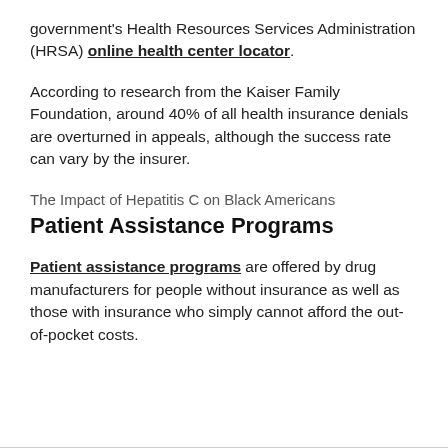government's Health Resources Services Administration (HRSA) online health center locator.
According to research from the Kaiser Family Foundation, around 40% of all health insurance denials are overturned in appeals, although the success rate can vary by the insurer.
The Impact of Hepatitis C on Black Americans
Patient Assistance Programs
Patient assistance programs are offered by drug manufacturers for people without insurance as well as those with insurance who simply cannot afford the out-of-pocket costs.